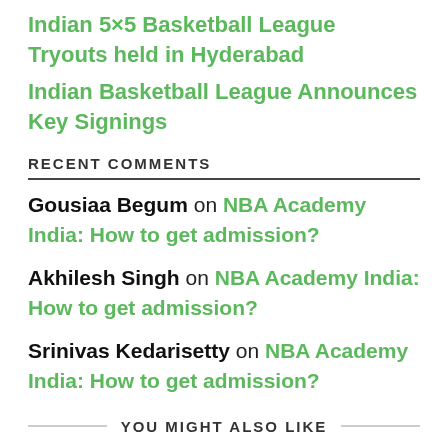Indian 5×5 Basketball League Tryouts held in Hyderabad
Indian Basketball League Announces Key Signings
RECENT COMMENTS
Gousiaa Begum on NBA Academy India: How to get admission?
Akhilesh Singh on NBA Academy India: How to get admission?
Srinivas Kedarisetty on NBA Academy India: How to get admission?
Nagaraj on NBA Academy India: How to get admission?
M.Ganesh on Indian 5×5 Basketball League Tryouts held in Hyderabad
YOU MIGHT ALSO LIKE